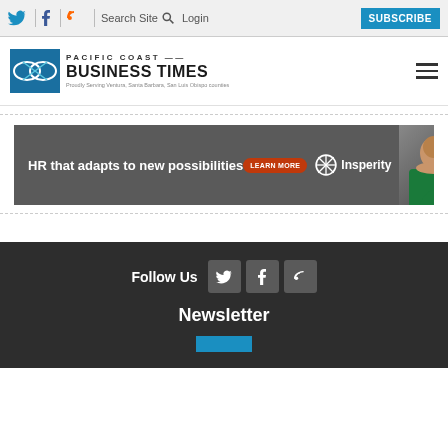Twitter | Facebook | RSS | Search Site | Login | SUBSCRIBE
[Figure (logo): Pacific Coast Business Times logo with blue box and stylized bowtie icon]
[Figure (photo): Insperity advertisement banner: HR that adapts to new possibilities — LEARN MORE — Insperity — photo of smiling woman]
Follow Us
Newsletter